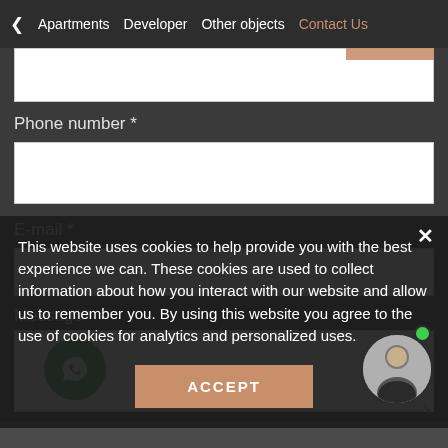< Apartments  Developer  Other objects  Contact Us
Phone number *
E-mail *
Message
This website uses cookies to help provide you with the best experience we can. These cookies are used to collect information about how you interact with our website and allow us to remember you. By using this website you agree to the use of cookies for analytics and personalized uses.
ACCEPT